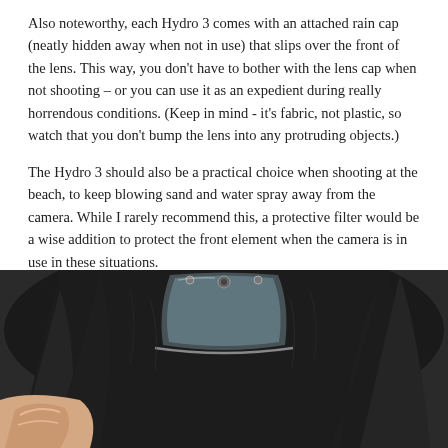Also noteworthy, each Hydro 3 comes with an attached rain cap (neatly hidden away when not in use) that slips over the front of the lens. This way, you don't have to bother with the lens cap when not shooting – or you can use it as an expedient during really horrendous conditions. (Keep in mind - it's fabric, not plastic, so watch that you don't bump the lens into any protruding objects.)
The Hydro 3 should also be a practical choice when shooting at the beach, to keep blowing sand and water spray away from the camera. While I rarely recommend this, a protective filter would be a wise addition to protect the front element when the camera is in use in these situations.
Pro Tip - allow rain covers to air-dry before packing them away.
[Figure (photo): A close-up photo of a dark rain cover being held, showing a transparent plastic window/viewport and black fabric material.]